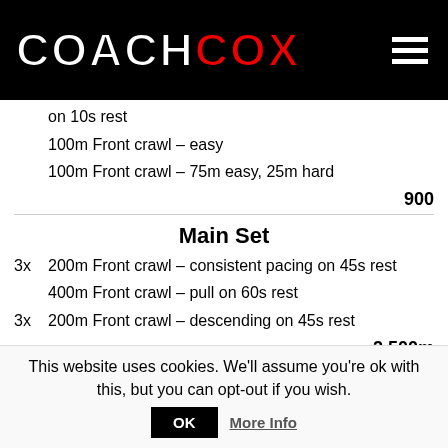COACH COX
on 10s rest
100m Front crawl – easy
100m Front crawl – 75m easy, 25m hard
900
Main Set
3x  200m Front crawl – consistent pacing on 45s rest
400m Front crawl – pull on 60s rest
3x  200m Front crawl – descending on 45s rest
2,500m
Main Set 2
This website uses cookies. We'll assume you're ok with this, but you can opt-out if you wish.